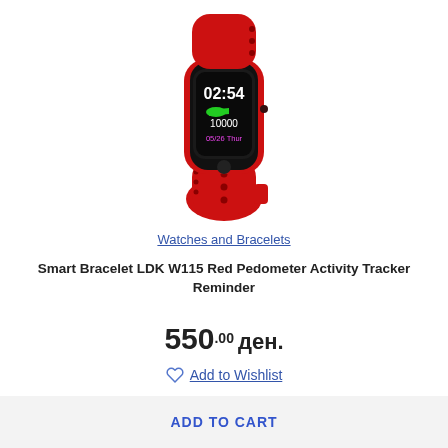[Figure (photo): Red smart fitness bracelet/band with black display showing time 02:54, steps 10000, shoe icon, and date 05/26 Thur. Red silicone strap with holes.]
Watches and Bracelets
Smart Bracelet LDK W115 Red Pedometer Activity Tracker Reminder
550.00 ден.
Add to Wishlist
ADD TO CART